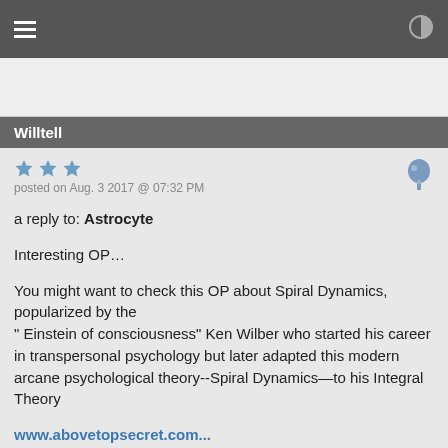Navigation bar with hamburger menu and contrast toggle
Willtell
posted on Aug. 3 2017 @ 07:32 PM
a reply to: Astrocyte
Interesting OP…
You might want to check this OP about Spiral Dynamics, popularized by the “ Einstein of consciousness” Ken Wilber who started his career in transpersonal psychology but later adapted this modern arcane psychological theory--Spiral Dynamics—to his Integral Theory
www.abovetopsecret.com...